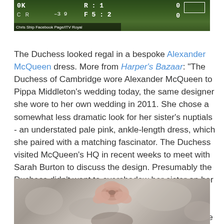[Figure (photo): Screenshot of a sports scoreboard overlay on a green field. Shows scores: R 1, D 0 on top row; 2, D 0 on bottom row. Caption reads: Chris Ship Facebook Page/ITV Royal]
The Duchess looked regal in a bespoke Alexander McQueen dress. More from Harper's Bazaar: "The Duchess of Cambridge wore Alexander McQueen to Pippa Middleton's wedding today, the same designer she wore to her own wedding in 2011. She chose a somewhat less dramatic look for her sister's nuptials - an understated pale pink, ankle-length dress, which she paired with a matching fascinator. The Duchess visited McQueen's HQ in recent weeks to meet with Sarah Burton to discuss the design. Presumably the Duchess didn't want to overshadow her sister on her big day, thus the pared-down, yet elegant look. The decision shows Kate's ongoing loyalty to the British brand, which she's worn on multiple occasions since the royal wedding."
[Figure (photo): Photo of a person wearing a pale pink fascinator/hat, blurred background of grey/stone texture]